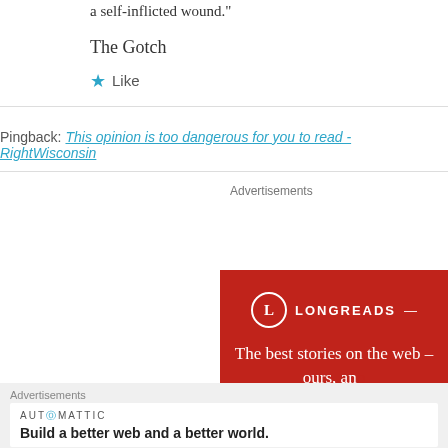"The appalling coverage these days traces a self-inflicted wound."
The Gotch
★ Like
Pingback: This opinion is too dangerous for you to read - RightWisconsin
Advertisements
[Figure (infographic): Longreads advertisement banner with red background, Longreads logo circle with L, and tagline 'The best stories on the web – ours, and...']
Advertisements
AUTOMATTIC
Build a better web and a better world.